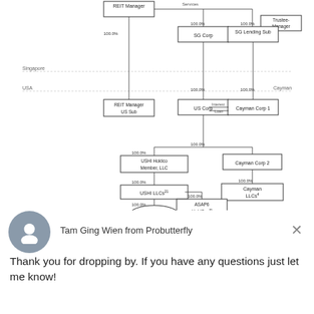[Figure (organizational-chart): Corporate structure organizational chart showing REIT Manager at top with Services label, connecting to SG Corp (100.0%), SG Lending Sub (100.0%), Trustee-Manager, and REIT Manager US Sub (100.0%). Singapore and USA jurisdictions labeled. SG Corp connects to US Corp (100.0%), Cayman Corp 1 (100.0%) via Interest/Loan arrows. US Corp connects down (100.0%) to USHI Holdco Member LLC (100.0%), Cayman Corp 2. USHI Holdco Member LLC connects to USHI LLCs (100.0%), which connects to USHI Portfolio (100.0%). ASAP6 HoldCos (100.0%) connects to ASAP6 Portfolio (100.0%). Cayman Corp 2 connects to Cayman LLCs (100.0%). Cayman label on right side.]
Tam Ging Wien from Probutterfly
Thank you for dropping by. If you have any questions just let me know!
Reply to Tam Ging Wien
Chat ⚡ by Drift